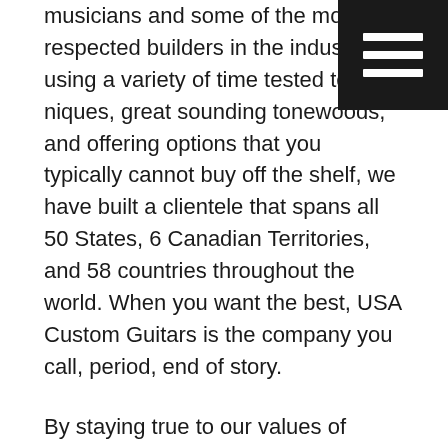musicians and some of the most respected builders in the industry. By using a variety of time tested techniques, great sounding tonewoods, and offering options that you typically cannot buy off the shelf, we have built a clientele that spans all 50 States, 6 Canadian Territories, and 58 countries throughout the world. When you want the best, USA Custom Guitars is the company you call, period, end of story.
By staying true to our values of quality and service, honoring the tone formulas and old world craftsmanship AND pairing it with modern technology, we have built a reputation that is second to none. We are not the biggest, but we are the best.
Our mission is to provide the best quality products and service in the industry. It doesn’t matter if you are building 1 guitar or 1,000 guitars, the quality of your order and your satisfaction are our #1 priority.